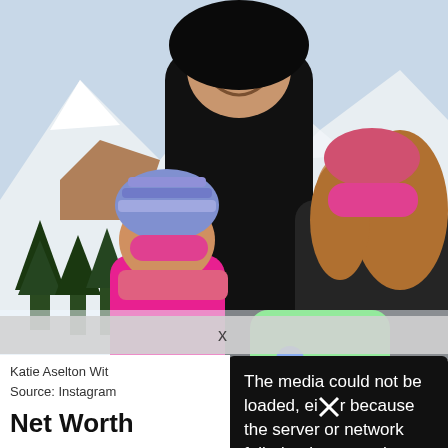[Figure (photo): Family photo in snowy mountain setting. An adult in a black hoodie stands behind two children wearing colorful winter gear and pink ski goggles, one in a bright pink jacket and one in dark jacket. A green sled is visible. Snowy mountain and trees in background.]
[Figure (screenshot): Error overlay with gray bar showing 'x' and a black popup box with white text: 'The media could not be loaded, either because the server or network failed or because the']
Katie Aselton Wit
Source: Instagram
Net Worth